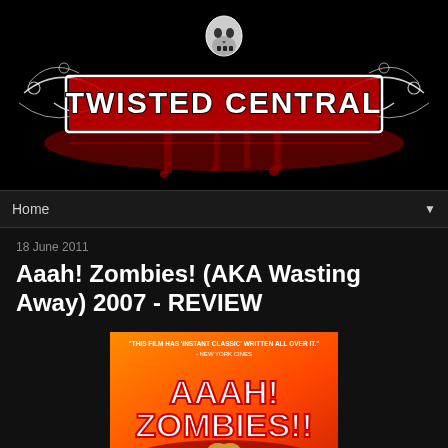[Figure (logo): Twisted Central horror website logo with gothic skull and ornate decorative lettering in red and white on black background]
Home ▼
18 June 2011
Aaah! Zombies! (AKA Wasting Away) 2007 - REVIEW
[Figure (photo): Movie poster for Aaah! Zombies!! with quote 'This film has Instant Classic written all over it' on orange/red background with zombie character]